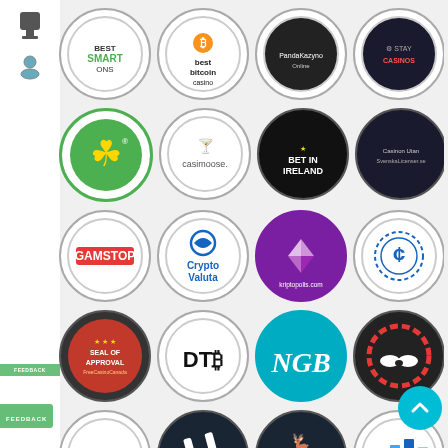[Figure (infographic): Grid of circular partner/affiliate logos including BestSmartOns, Best Bitcoin Casino, PandaKazynoOnline, StayCasinos, Casimoose, Bet In Ireland, CasinoUtanSvenskaLicensen, GamStop, CryptoValuta, kriptopolis.com, Cents coin logo, Seal of Approval FreeCasinoCanada, DTBit, NGB, mustache casino chip, BitcoinCoupons, Hashgraph logo, Casimoose deer, bar chart icon, CryptoVegas, Winz.io, RR double R, dragon/phoenix logo]